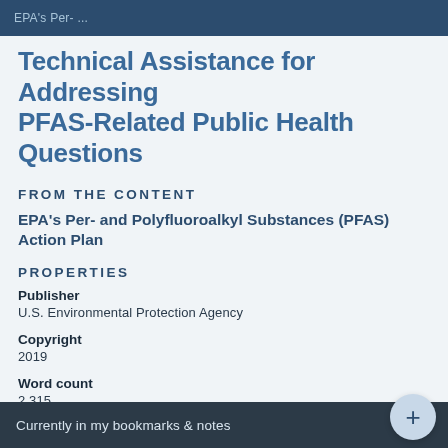EPA's Per- ...
Technical Assistance for Addressing PFAS-Related Public Health Questions
FROM THE CONTENT
EPA's Per- and Polyfluoroalkyl Substances (PFAS) Action Plan
PROPERTIES
Publisher
U.S. Environmental Protection Agency
Copyright
2019
Word count
2,315
Currently in my bookmarks & notes